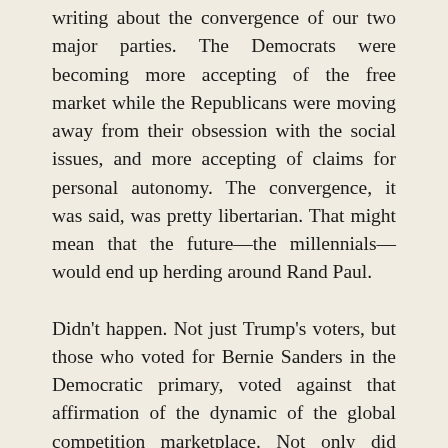writing about the convergence of our two major parties. The Democrats were becoming more accepting of the free market while the Republicans were moving away from their obsession with the social issues, and more accepting of claims for personal autonomy. The convergence, it was said, was pretty libertarian. That might mean that the future—the millennials—would end up herding around Rand Paul.
Didn't happen. Not just Trump's voters, but those who voted for Bernie Sanders in the Democratic primary, voted against that affirmation of the dynamic of the global competition marketplace. Not only did Senator Paul's campaign go nowhere, the major Republican donors had no candidate on whom to lavish their money. Their candidate from four